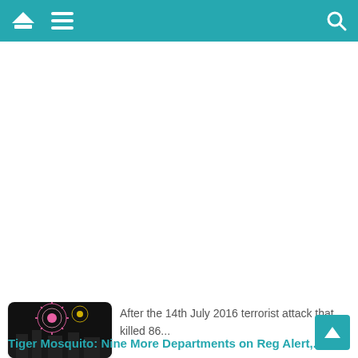[Figure (screenshot): Mobile app top navigation bar with home, hamburger menu, and search icons on teal background]
[Figure (photo): Partial photo of a couple, man in suit and woman with long blonde hair]
pregnancy of Adriana Karembeu,...
Why Are STD Rates on the Rise in France?
[Figure (photo): Black and white photo of a woman covering her face with her hands]
The information about sexually transmitted diseases and how to prevent...
Nice Returns to Fireworks, Two Years After the 14th...
[Figure (photo): Photo of fireworks over a city at night]
After the 14th July 2016 terrorist attack that killed 86...
Tiger Mosquito: Nine More Departments on Reg Alert,...
[Figure (photo): Partial photo related to tiger mosquito article]
The tiger mosquito continues to grow in